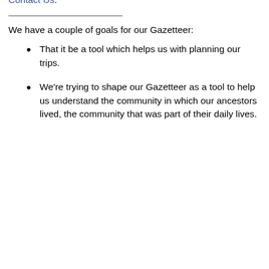Arlington Hall Station was mentioned, we believe that it was a community rather than a locale or some type of landmark. We have done a cursory search and if it was a community, we haven't been able to find any evidence that it still exists..
One piece of information that we would especially like to find is the location (ie- GPS coordinates) of Arlington Hall Station. If you can help us locate Arlington Hall Station, please Contact Us.
We have a couple of goals for our Gazetteer:
That it be a tool which helps us with planning our trips.
We're trying to shape our Gazetteer as a tool to help us understand the community in which our ancestors lived, the community that was part of their daily lives.